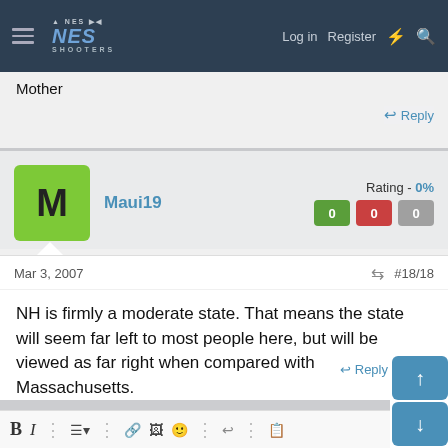NES Shooters — Log in   Register
Mother
Reply
Maui19   Rating - 0%   0 0 0
Mar 3, 2007   #18/18
NH is firmly a moderate state. That means the state will seem far left to most people here, but will be viewed as far right when compared with Massachusetts.

That's not going to change any time soon.
Reply